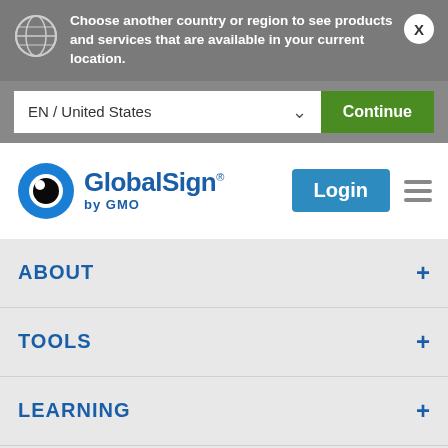Choose another country or region to see products and services that are available in your current location.
EN / United States
Continue
[Figure (logo): GlobalSign by GMO logo with blue eye icon]
Login
ABOUT
TOOLS
LEARNING
CONTACT